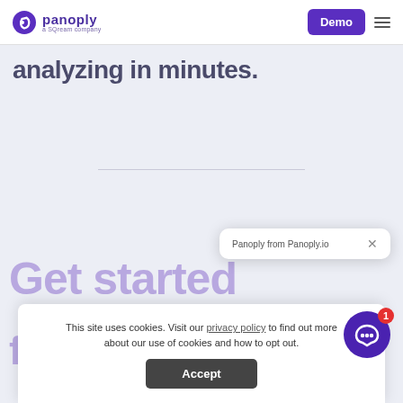Panoply — a SQream company | Demo | (menu)
analyzing in minutes.
Get started
for free
[Figure (screenshot): Panoply from Panoply.io chat popup with close button (×)]
This site uses cookies. Visit our privacy policy to find out more about our use of cookies and how to opt out.
Accept